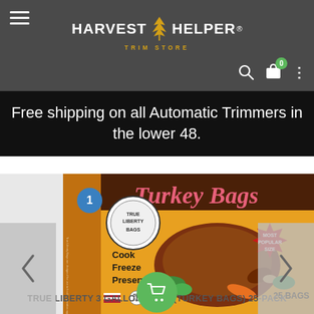Harvest Helper Trim Store
Free shipping on all Automatic Trimmers in the lower 48.
[Figure (photo): True Liberty Turkey Bags product box — orange packaging with roasted turkey image, text: Cook Freeze Preserve, 25 BAGS, MOST POPULAR SIZE, BPA Free, True Liberty Bags logo]
TRUE LIBERTY 3 GALLON BAGS (TURKEY BAGS) 25-PACK